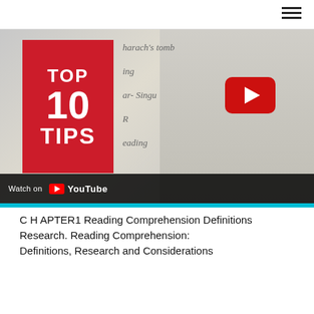[Figure (screenshot): YouTube video thumbnail showing a woman in front of a whiteboard with a red 'TOP 10 TIPS' overlay graphic and a YouTube play button. The bottom bar shows 'Watch on YouTube'.]
C H APTER1 Reading Comprehension Definitions Research. Reading Comprehension: Definitions, Research and Considerations